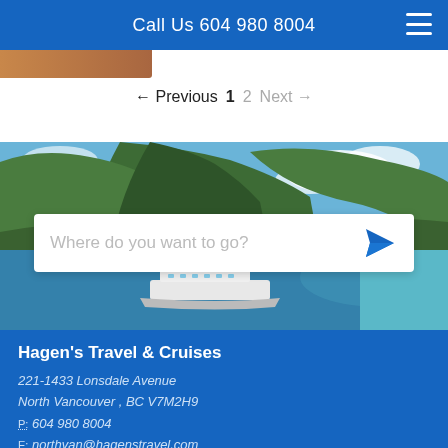Call Us 604 980 8004
← Previous  1  2  Next →
[Figure (photo): Scenic tropical island with green mountainous landscape, turquoise water, and a cruise ship. Overlaid with a search bar reading 'Where do you want to go?']
Hagen's Travel & Cruises
221-1433 Lonsdale Avenue
North Vancouver , BC V7M2H9
P: 604 980 8004
E: northvan@hagenstravel.com